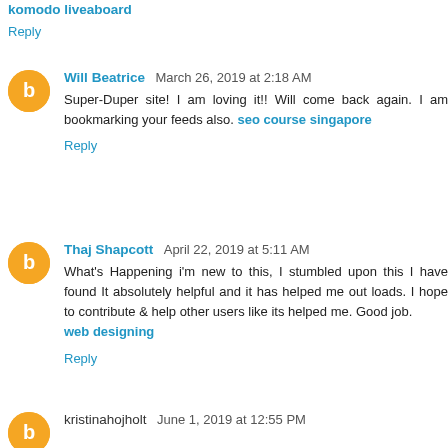komodo liveaboard
Reply
Will Beatrice  March 26, 2019 at 2:18 AM
Super-Duper site! I am loving it!! Will come back again. I am bookmarking your feeds also. seo course singapore
Reply
Thaj Shapcott  April 22, 2019 at 5:11 AM
What's Happening i'm new to this, I stumbled upon this I have found It absolutely helpful and it has helped me out loads. I hope to contribute & help other users like its helped me. Good job.
web designing
Reply
kristinahojholt  June 1, 2019 at 12:55 PM